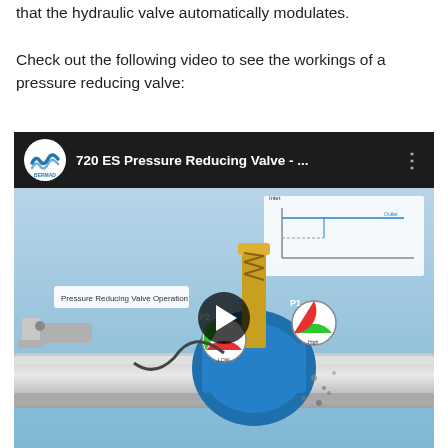that the hydraulic valve automatically modulates.
Check out the following video to see the workings of a pressure reducing valve:
[Figure (screenshot): Embedded video thumbnail showing a YouTube-style video player with BERMAD logo, title '720 ES Pressure Reducing Valve - ...' and a 3D animation frame showing a pressure reducing valve cross-section with P1 and P2 pressure gauges and a play button overlay.]